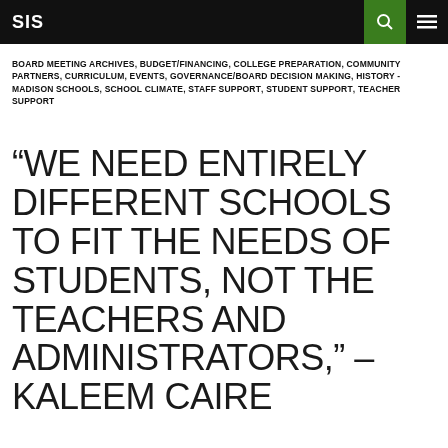SIS
BOARD MEETING ARCHIVES, BUDGET/FINANCING, COLLEGE PREPARATION, COMMUNITY PARTNERS, CURRICULUM, EVENTS, GOVERNANCE/BOARD DECISION MAKING, HISTORY - MADISON SCHOOLS, SCHOOL CLIMATE, STAFF SUPPORT, STUDENT SUPPORT, TEACHER SUPPORT
“WE NEED ENTIRELY DIFFERENT SCHOOLS TO FIT THE NEEDS OF STUDENTS, NOT THE TEACHERS AND ADMINISTRATORS,” – KALEEM CAIRE